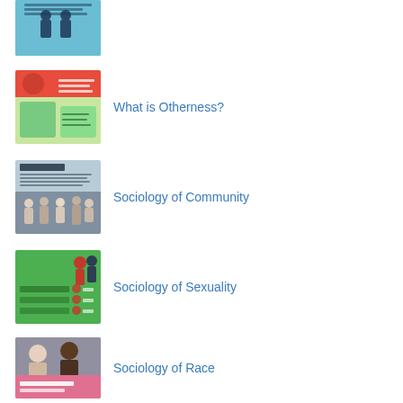[Figure (illustration): Book cover thumbnail with blue background and silhouette figures of people, related to sexuality/gender topics]
[Figure (illustration): Book cover thumbnail with colorful red and green design, titled related to otherness]
What is Otherness?
[Figure (illustration): Book cover thumbnail with black and white photo of community gathering or crowd]
Sociology of Community
[Figure (illustration): Book cover thumbnail with green background featuring silhouette figures and checklist items]
Sociology of Sexuality
[Figure (photo): Book cover thumbnail showing people, with pink banner at bottom reading Sociology of Race]
Sociology of Race